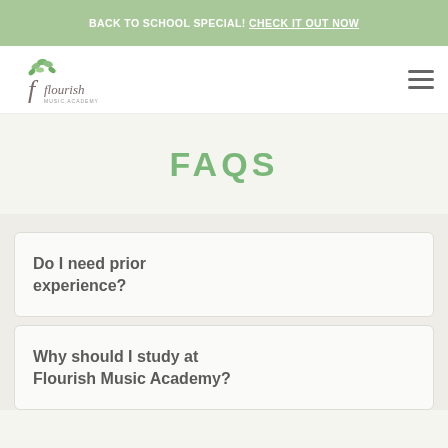BACK TO SCHOOL SPECIAL! CHECK IT OUT NOW
[Figure (logo): Flourish Music Academy logo with green floral tree and stylized text]
FAQS
Do I need prior experience?
Why should I study at Flourish Music Academy?